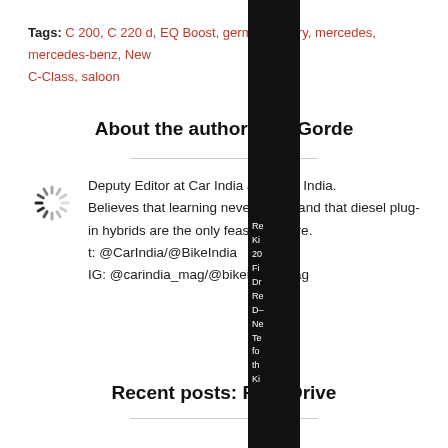Tags: C 200, C 220 d, EQ Boost, german, luxury, mercedes, mercedes-benz, New C-Class, saloon
About the author: Jim Gorde
Deputy Editor at Car India and Bike India. Believes that learning never stops, and that diesel plug-in hybrids are the only feasible future. t: @CarIndia/@BikeIndia IG: @carindia_mag/@bikeindia_mag
Recent posts: First Drive